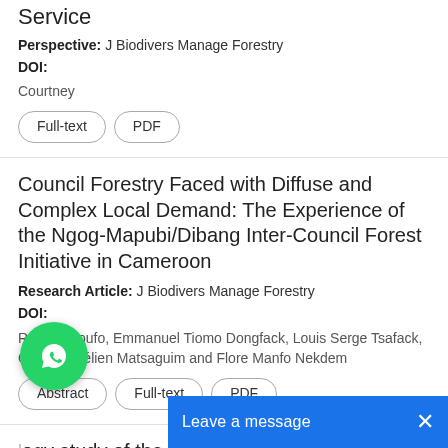Service
Perspective: J Biodivers Manage Forestry
DOI:
Courtney
Full-text
PDF
Council Forestry Faced with Diffuse and Complex Local Demand: The Experience of the Ngog-Mapubi/Dibang Inter-Council Forest Initiative in Cameroon
Research Article: J Biodivers Manage Forestry
DOI:
Roger Ngoufo, Emmanuel Tiomo Dongfack, Louis Serge Tsafack, Cédric Aurélien Matsaguim and Flore Manfo Nekdem
Abstract
Full-text
PDF
'ogy study of the Living Organisms, Including ans
Perspective: J Biodivers Manage Fo...
DOI:
[Figure (screenshot): WhatsApp chat button overlay (green circle with phone icon)]
Leave a message  X